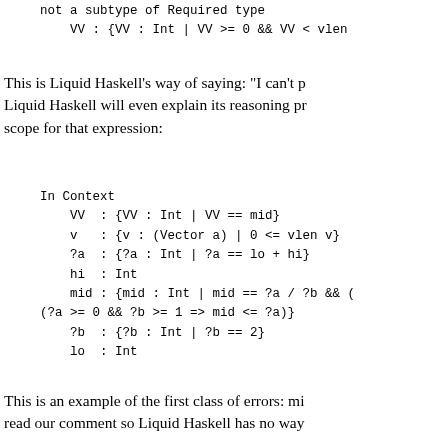not a subtype of Required type
    VV : {VV : Int | VV >= 0 && VV < vlen
This is Liquid Haskell's way of saying: "I can't p Liquid Haskell will even explain its reasoning pr scope for that expression:
In Context
    VV  : {VV : Int | VV == mid}
    v   : {v : (Vector a) | 0 <= vlen v}
    ?a  : {?a : Int | ?a == lo + hi}
    hi  : Int
    mid : {mid : Int | mid == ?a / ?b && (
(?a >= 0 && ?b >= 1 => mid <= ?a)
    ?b  : {?b : Int | ?b == 2}
    lo  : Int
This is an example of the first class of errors: mi read our comment so Liquid Haskell has no way